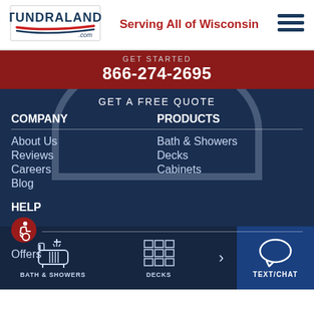[Figure (logo): Tundraland.com logo with red and blue swoosh stripes]
Serving All of Wisconsin
[Figure (infographic): Hamburger menu icon with three horizontal lines]
GET STARTED
866-274-2695
GET A FREE QUOTE
COMPANY
About Us
Reviews
Careers
Blog
PRODUCTS
Bath & Showers
Decks
Cabinets
HELP
Offers
BATH & SHOWERS
DECKS
TEXT/CHAT